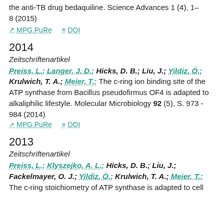the anti-TB drug bedaquiline. Science Advances 1 (4), 1–8 (2015)
MPG.PuRe   DOI
2014
Zeitschriftenartikel
Preiss, L.; Langer, J. D.; Hicks, D. B.; Liu, J.; Yildiz, Ö.; Krulwich, T. A.; Meier, T.: The c-ring ion binding site of the ATP synthase from Bacillus pseudofirmus OF4 is adapted to alkaliphilic lifestyle. Molecular Microbiology 92 (5), S. 973 - 984 (2014)
MPG.PuRe   DOI
2013
Zeitschriftenartikel
Preiss, L.; Klyszejko, A. L.; Hicks, D. B.; Liu, J.; Fackelmayer, O. J.; Yildiz, Ö.; Krulwich, T. A.; Meier, T.: The c-ring stoichiometry of ATP synthase is adapted to cell